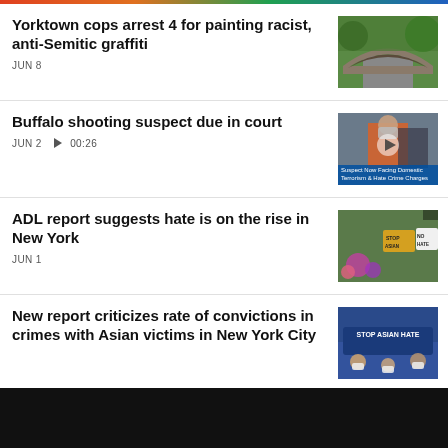Yorktown cops arrest 4 for painting racist, anti-Semitic graffiti
JUN 8
[Figure (photo): Photo of a road going under a stone bridge arch surrounded by green trees]
Buffalo shooting suspect due in court
JUN 2  ▶ 00:26
[Figure (photo): Video thumbnail showing a person in orange jumpsuit, text overlay: Suspect Now Facing Domestic Terrorism & Hate Crime Charges]
ADL report suggests hate is on the rise in New York
JUN 1
[Figure (photo): Photo showing protest signs reading STOP ASIAN HATE with flowers]
New report criticizes rate of convictions in crimes with Asian victims in New York City
[Figure (photo): Photo of protesters holding STOP ASIAN HATE signs]